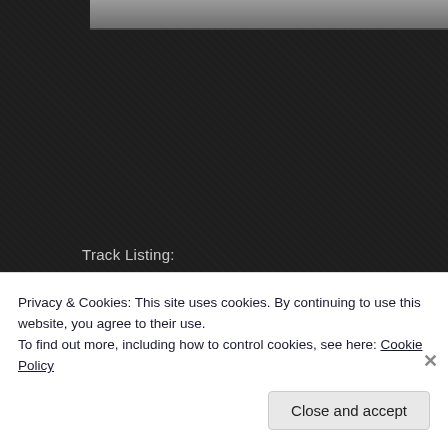[Figure (photo): Partial photo strip visible at the top of a dark-themed music album page]
Track Listing:
01. “True Colors”
02. “Sweet Oblivion”
03. “Behind Your Eyes”
04. “Hide Away”
05. “My Last Story”
06. “A Recess From My Fate”
07. “Transition”
08. “Disconnect”
09. “The Deceiver”
Privacy & Cookies: This site uses cookies. By continuing to use this website, you agree to their use. To find out more, including how to control cookies, see here: Cookie Policy
Close and accept